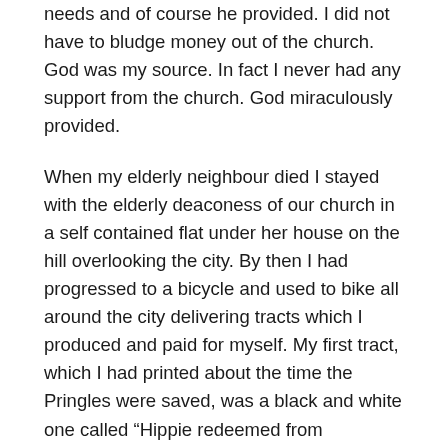needs and of course he provided. I did not have to bludge money out of the church. God was my source. In fact I never had any support from the church. God miraculously provided.
When my elderly neighbour died I stayed with the elderly deaconess of our church in a self contained flat under her house on the hill overlooking the city. By then I had progressed to a bicycle and used to bike all around the city delivering tracts which I produced and paid for myself. My first tract, which I had printed about the time the Pringles were saved, was a black and white one called “Hippie redeemed from Destruction” with before and after photos of myself. I think I had about  5,000 of those printed which I personally handed out. My next one was similar but